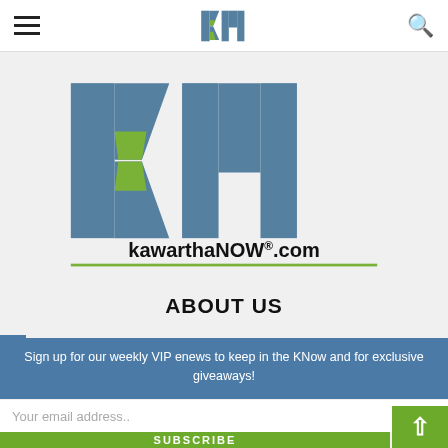kawarthaNOW.com navigation bar with hamburger menu and search icon
[Figure (logo): kawarthaNOW.com logo — large kN lettermark in steel blue and green, with 'kawarthaNOW.com' text and 'A QUID NOVIS PRODUCTION' tagline]
ABOUT US
Sign up for our weekly VIP enews to keep in the KNow and for exclusive giveaways!
Your email address..
SUBSCRIBE